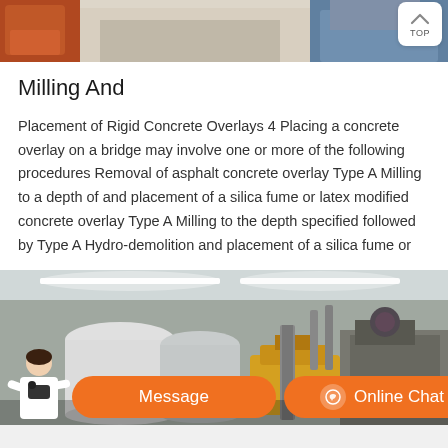[Figure (photo): Top portion of a construction or industrial machinery photo, partially cropped.]
Milling And
Placement of Rigid Concrete Overlays 4 Placing a concrete overlay on a bridge may involve one or more of the following procedures Removal of asphalt concrete overlay Type A Milling to a depth of and placement of a silica fume or latex modified concrete overlay Type A Milling to the depth specified followed by Type A Hydro-demolition and placement of a silica fume or
[Figure (photo): Interior of an industrial factory or manufacturing plant with large silos, yellow heavy machinery, and overhead lighting.]